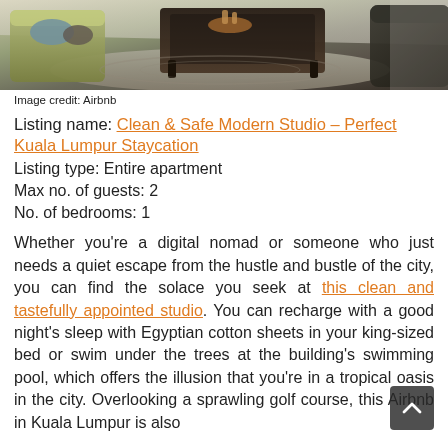[Figure (photo): Interior photo of a modern living room with green/yellow armchairs, grey cushions, and a dark wooden coffee table on a grey rug. Shot from above at an angle.]
Image credit: Airbnb
Listing name: Clean & Safe Modern Studio - Perfect Kuala Lumpur Staycation
Listing type: Entire apartment
Max no. of guests: 2
No. of bedrooms: 1
Whether you’re a digital nomad or someone who just needs a quiet escape from the hustle and bustle of the city, you can find the solace you seek at this clean and tastefully appointed studio. You can recharge with a good night’s sleep with Egyptian cotton sheets in your king-sized bed or swim under the trees at the building’s swimming pool, which offers the illusion that you’re in a tropical oasis in the city. Overlooking a sprawling golf course, this Airbnb in Kuala Lumpur is also